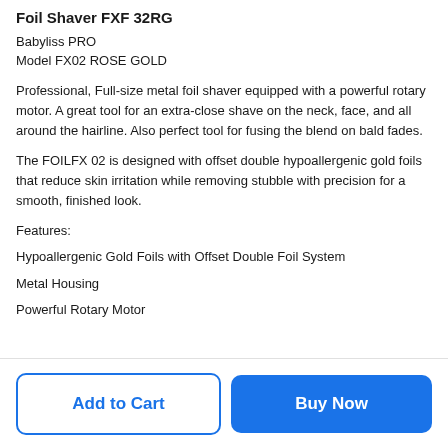Foil Shaver FXF 32RG
Babyliss PRO
Model FX02 ROSE GOLD
Professional, Full-size metal foil shaver equipped with a powerful rotary motor. A great tool for an extra-close shave on the neck, face, and all around the hairline. Also perfect tool for fusing the blend on bald fades.
The FOILFX 02 is designed with offset double hypoallergenic gold foils that reduce skin irritation while removing stubble with precision for a smooth, finished look.
Features:
Hypoallergenic Gold Foils with Offset Double Foil System
Metal Housing
Powerful Rotary Motor